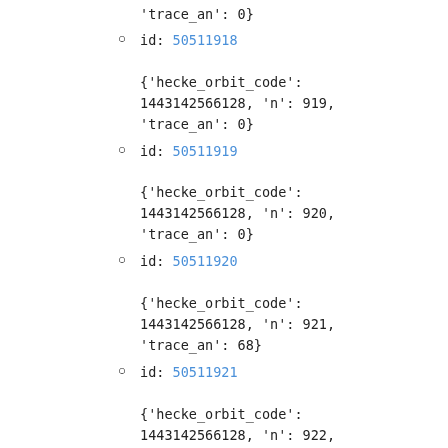'trace_an': 0}
id: 50511918 {'hecke_orbit_code': 1443142566128, 'n': 919, 'trace_an': 0}
id: 50511919 {'hecke_orbit_code': 1443142566128, 'n': 920, 'trace_an': 0}
id: 50511920 {'hecke_orbit_code': 1443142566128, 'n': 921, 'trace_an': 68}
id: 50511921 {'hecke_orbit_code': 1443142566128, 'n': 922, 'trace_an': 0}
id: 50511922 {'hecke_orbit_code': 1443142566128, 'n': 923,